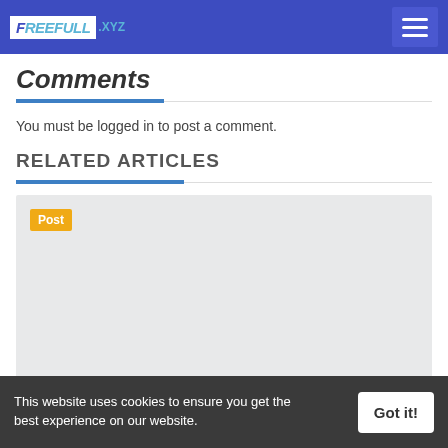FreeFull.xyz
Comments
You must be logged in to post a comment.
RELATED ARTICLES
[Figure (other): Light gray placeholder image card with a yellow 'Post' badge in the top-left corner]
This website uses cookies to ensure you get the best experience on our website.